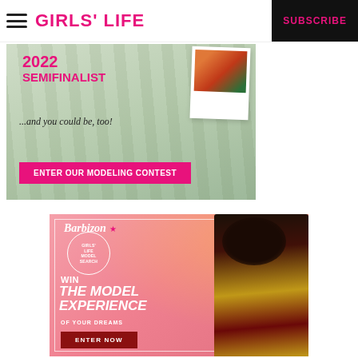GIRLS' LIFE | SUBSCRIBE
[Figure (infographic): Girls' Life 2022 Semifinalist modeling contest ad banner with palm trees background, polaroid photo, pink text, and 'ENTER OUR MODELING CONTEST' button]
[Figure (infographic): Barbizon x Girls' Life Model Search ad: pink background with gold sparkles, model in red jacket and gold dress, text 'WIN THE MODEL EXPERIENCE OF YOUR DREAMS', ENTER NOW button]